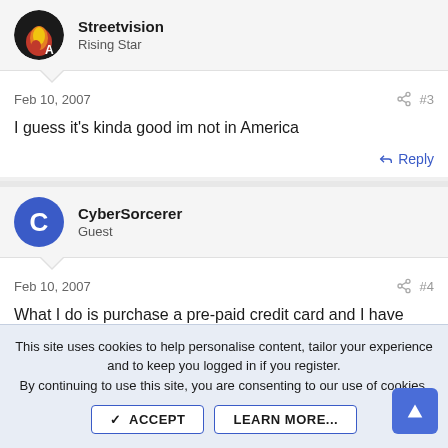[Figure (illustration): Avatar for Streetvision — fire/flame themed circular image]
Streetvision
Rising Star
Feb 10, 2007	#3
I guess it's kinda good im not in America
Reply
[Figure (illustration): Avatar for CyberSorcerer — blue circle with letter C]
CyberSorcerer
Guest
Feb 10, 2007	#4
What I do is purchase a pre-paid credit card and I have
This site uses cookies to help personalise content, tailor your experience and to keep you logged in if you register.
By continuing to use this site, you are consenting to our use of cookies.
ACCEPT
LEARN MORE...